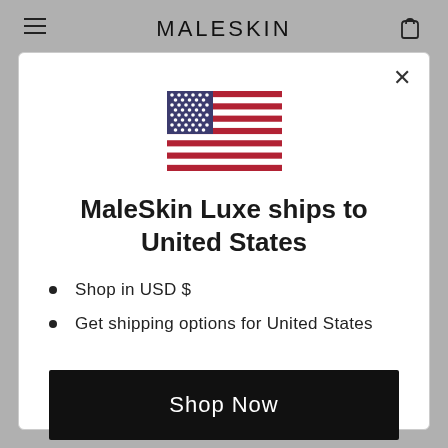MALESKIN
[Figure (illustration): United States flag emoji/icon]
MaleSkin Luxe ships to United States
Shop in USD $
Get shipping options for United States
Shop Now
Change Shipping Country